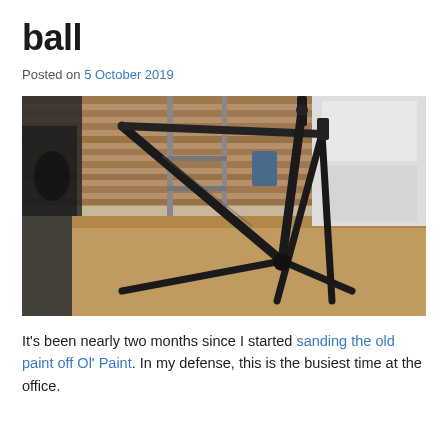ball
Posted on 5 October 2019
[Figure (photo): A stripped black bicycle frame resting on a wooden workbench inside a workshop, with wood planks, tools, and clamps visible in the background.]
It's been nearly two months since I started sanding the old paint off Ol' Paint. In my defense, this is the busiest time at the office.